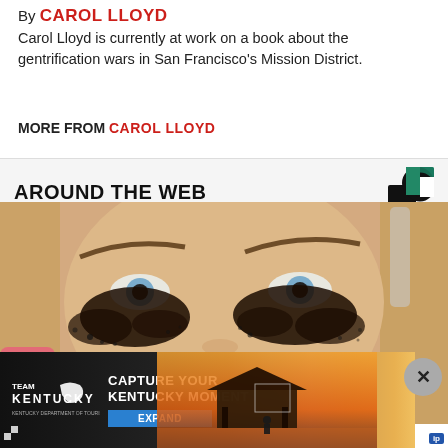By CAROL LLOYD
Carol Lloyd is currently at work on a book about the gentrification wars in San Francisco's Mission District.
MORE FROM CAROL LLOYD
AROUND THE WEB
[Figure (photo): Close-up photo of a woman with elaborate dark eye makeup, with pink nails visible at left edge]
[Figure (infographic): Advertisement overlay: Team Kentucky — Capture Your Kentucky Moment — Expand button, with sunset pavilion background photo and close button]